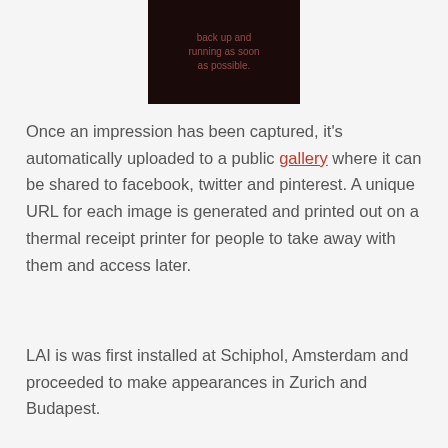[Figure (photo): Dark background image with reddish text reading 'back up and running as soon as possible.']
Once an impression has been captured, it's automatically uploaded to a public gallery where it can be shared to facebook, twitter and pinterest. A unique URL for each image is generated and printed out on a thermal receipt printer for people to take away with them and access later.
LAI is was first installed at Schiphol, Amsterdam and proceeded to make appearances in Zurich and Budapest.